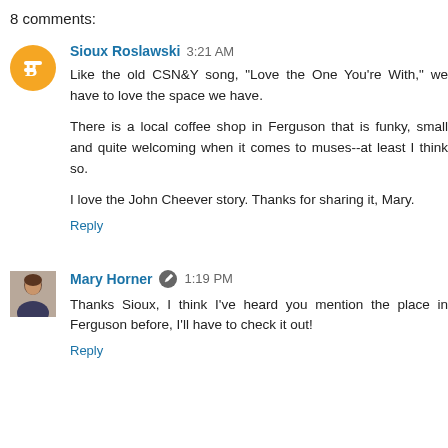8 comments:
Sioux Roslawski 3:21 AM
Like the old CSN&Y song, "Love the One You're With," we have to love the space we have.

There is a local coffee shop in Ferguson that is funky, small and quite welcoming when it comes to muses--at least I think so.

I love the John Cheever story. Thanks for sharing it, Mary.
Reply
Mary Horner 1:19 PM
Thanks Sioux, I think I've heard you mention the place in Ferguson before, I'll have to check it out!
Reply